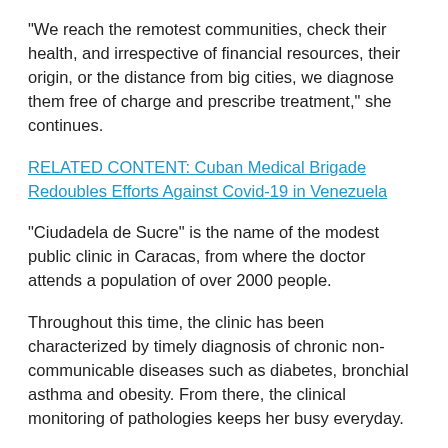“We reach the remotest communities, check their health, and irrespective of financial resources, their origin, or the distance from big cities, we diagnose them free of charge and prescribe treatment,” she continues.
RELATED CONTENT: Cuban Medical Brigade Redoubles Efforts Against Covid-19 in Venezuela
“Ciudadela de Sucre” is the name of the modest public clinic in Caracas, from where the doctor attends a population of over 2000 people.
Throughout this time, the clinic has been characterized by timely diagnosis of chronic non-communicable diseases such as diabetes, bronchial asthma and obesity. From there, the clinical monitoring of pathologies keeps her busy everyday.
The presence of Cubadebate in the community arouses curiosity, so the Venezuelan Maritza Isabel Guzmán, a patient of Dr. Isiliurkis, approaches me, and without thinking twice asks me if she could tell Cuba and the world: “I want everyone to know that the doctor, and other Cuban specialists like her, have an excellent way with this people,